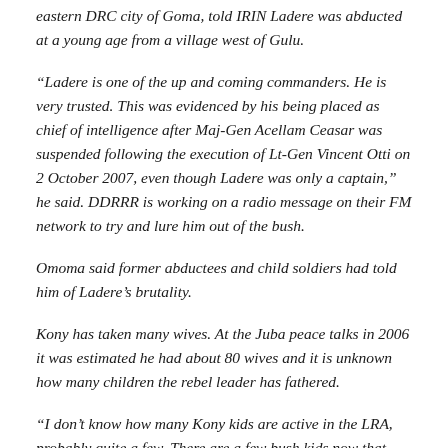eastern DRC city of Goma, told IRIN Ladere was abducted at a young age from a village west of Gulu.
"Ladere is one of the up and coming commanders. He is very trusted. This was evidenced by his being placed as chief of intelligence after Maj-Gen Acellam Ceasar was suspended following the execution of Lt-Gen Vincent Otti on 2 October 2007, even though Ladere was only a captain," he said. DDRRR is working on a radio message on their FM network to try and lure him out of the bush.
Omoma said former abductees and child soldiers had told him of Ladere's brutality.
Kony has taken many wives. At the Juba peace talks in 2006 it was estimated he had about 80 wives and it is unknown how many children the rebel leader has fathered.
"I don't know how many Kony kids are active in the LRA, probably quite a few. There are a few bush kids now that were born and bred in the LRA. They are pretty wild when they come out as they have never known civilization," Brubacher said.